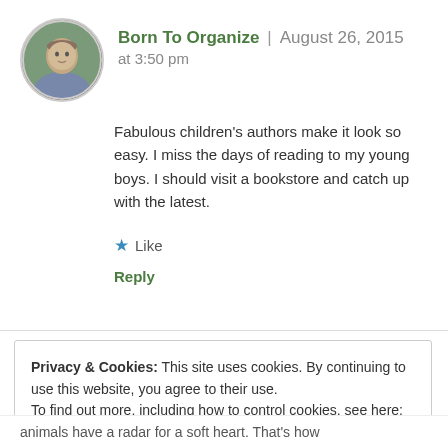[Figure (photo): Round avatar photo of a woman with short hair, circular crop with gray border]
Born To Organize | August 26, 2015 at 3:50 pm
Fabulous children's authors make it look so easy. I miss the days of reading to my young boys. I should visit a bookstore and catch up with the latest.
★ Like
Reply
Privacy & Cookies: This site uses cookies. By continuing to use this website, you agree to their use.
To find out more, including how to control cookies, see here: Cookie Policy
Close and accept
animals have a radar for a soft heart. That's how